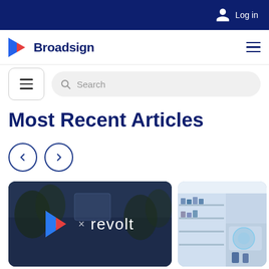Log in
[Figure (logo): Broadsign logo with play button triangle icon and text 'Broadsign' in dark navy blue]
[Figure (screenshot): Menu filter button and search box with placeholder text 'Search']
Most Recent Articles
[Figure (illustration): Left arrow navigation button (circle outline) and right arrow navigation button (circle outline) for carousel navigation]
[Figure (photo): Article thumbnail showing Broadsign x revolt partnership, dark overlay with play logo and revolt text]
[Figure (photo): Article thumbnail showing a retail store interior with shelving displays]